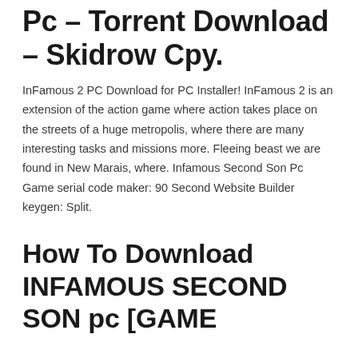Infamous Second Son Pc – Torrent Download – Skidrow Cpy.
InFamous 2 PC Download for PC Installer! InFamous 2 is an extension of the action game where action takes place on the streets of a huge metropolis, where there are many interesting tasks and missions more. Fleeing beast we are found in New Marais, where. Infamous Second Son Pc Game serial code maker: 90 Second Website Builder keygen: Split.
How To Download INFAMOUS SECOND SON pc [GAME